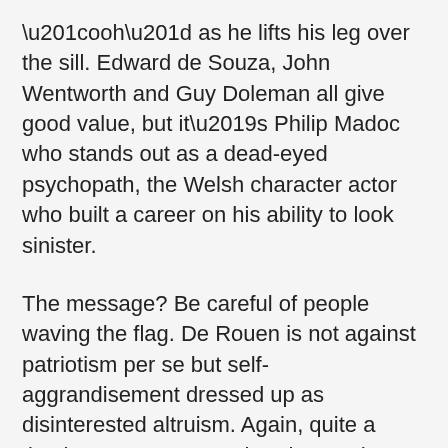“ooh” as he lifts his leg over the sill. Edward de Souza, John Wentworth and Guy Doleman all give good value, but it’s Philip Madoc who stands out as a dead-eyed psychopath, the Welsh character actor who built a career on his ability to look sinister.
The message? Be careful of people waving the flag. De Rouen is not against patriotism per se but self-aggrandisement dressed up as disinterested altruism. Again, quite a timely message as we head towards Brexit.